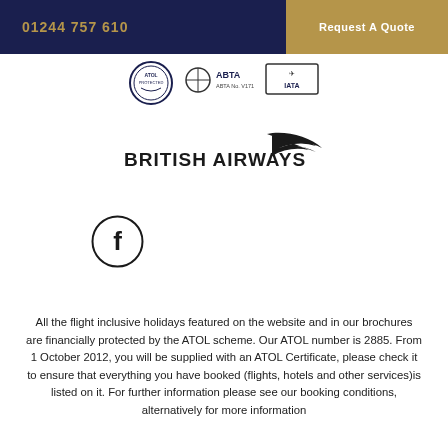01244 757 610   Request A Quote
[Figure (logo): Row of certification logos: ATOL Protected, ABTA No. V1712, IATA]
[Figure (logo): British Airways logo with swoosh]
[Figure (logo): Facebook icon circle with f]
All the flight inclusive holidays featured on the website and in our brochures are financially protected by the ATOL scheme. Our ATOL number is 2885. From 1 October 2012, you will be supplied with an ATOL Certificate, please check it to ensure that everything you have booked (flights, hotels and other services)is listed on it. For further information please see our booking conditions, alternatively for more information